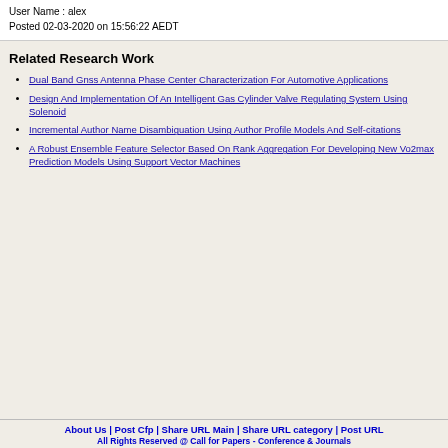User Name : alex
Posted 02-03-2020 on 15:56:22 AEDT
Related Research Work
Dual Band Gnss Antenna Phase Center Characterization For Automotive Applications
Design And Implementation Of An Intelligent Gas Cylinder Valve Regulating System Using Solenoid
Incremental Author Name Disambiguation Using Author Profile Models And Self-citations
A Robust Ensemble Feature Selector Based On Rank Aggregation For Developing New Vo2max Prediction Models Using Support Vector Machines
About Us | Post Cfp | Share URL Main | Share URL category | Post URL
All Rights Reserved @ Call for Papers - Conference & Journals